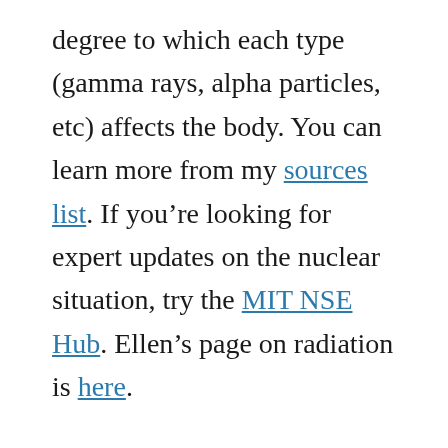degree to which each type (gamma rays, alpha particles, etc) affects the body. You can learn more from my sources list. If you're looking for expert updates on the nuclear situation, try the MIT NSE Hub. Ellen's page on radiation is here.
Lastly, remember that while there's a lot of focus on possible worst-case scenarios involving the nuclear plants, the tsunami was an actual disaster that's already killed thousands. Hundreds of thousands more,